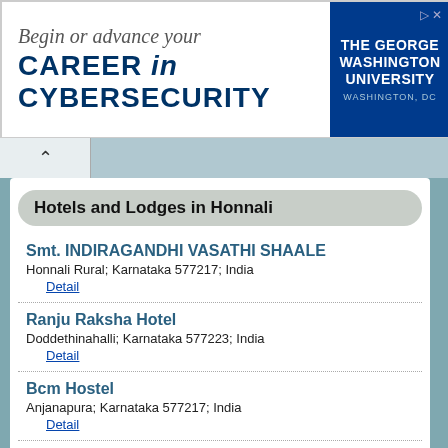[Figure (other): Advertisement banner for The George Washington University Cybersecurity program. Text: 'Begin or advance your CAREER in CYBERSECURITY' with GWU logo and 'WASHINGTON, DC']
Hotels and Lodges in Honnali
Smt. INDIRAGANDHI VASATHI SHAALE
Honnali Rural; Karnataka 577217; India
Detail
Ranju Raksha Hotel
Doddethinahalli; Karnataka 577223; India
Detail
Bcm Hostel
Anjanapura; Karnataka 577217; India
Detail
Post Metric Girls Hostel Sc|St
Anjanapura; Karnataka 577217; India
Detail
Shivaji Hotel
Anjanapura; Karnataka 577217; India
Detail